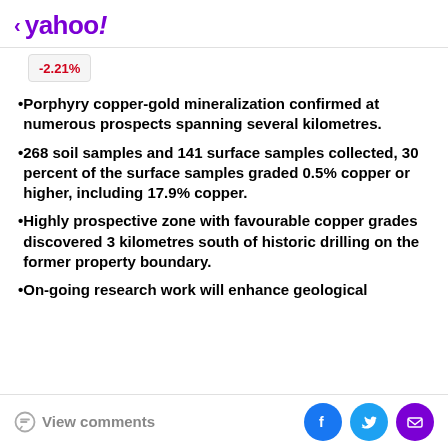< yahoo!
[Figure (screenshot): Ticker box showing -2.21% in red]
Porphyry copper-gold mineralization confirmed at numerous prospects spanning several kilometres.
268 soil samples and 141 surface samples collected, 30 percent of the surface samples graded 0.5% copper or higher, including 17.9% copper.
Highly prospective zone with favourable copper grades discovered 3 kilometres south of historic drilling on the former property boundary.
On-going research work will enhance geological
View comments  [Facebook] [Twitter] [Email]